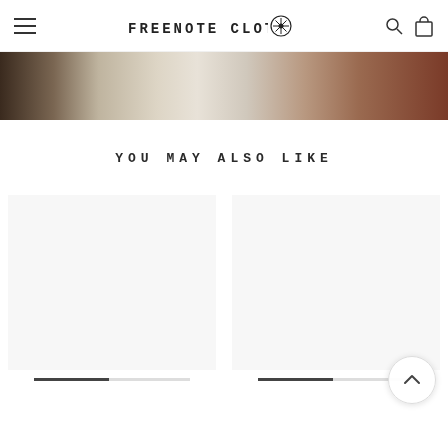Freenote Cloth — navigation header with hamburger menu, logo, search and bag icons
[Figure (photo): Close-up photo of fabric swatches in dark brown, beige, cream, and rust/red tones arranged horizontally]
YOU MAY ALSO LIKE
[Figure (photo): Two product image placeholders side by side with progress indicators below each]
[Figure (other): Back to top chevron button in bottom right corner]